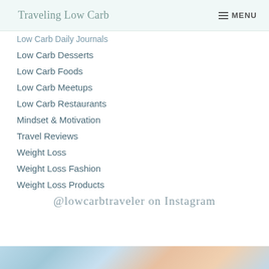Traveling Low Carb | MENU
Low Carb Daily Journals
Low Carb Desserts
Low Carb Foods
Low Carb Meetups
Low Carb Restaurants
Mindset & Motivation
Travel Reviews
Weight Loss
Weight Loss Fashion
Weight Loss Products
@lowcarbtraveler on Instagram
[Figure (photo): Partial image visible at bottom of page, appears to show food or floral arrangement with blue flowers]